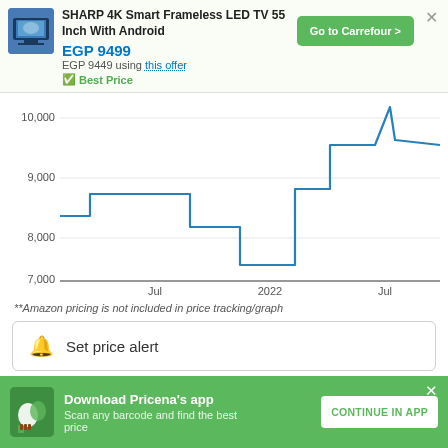SHARP 4K Smart Frameless LED TV 55 Inch With Android
EGP 9499
EGP 9449 using this offer
Best Price
[Figure (line-chart): Price history]
**Amazon pricing is not included in price tracking/graph
Set price alert
Download Pricena's app
Scan any barcode and find the best price
CONTINUE IN APP